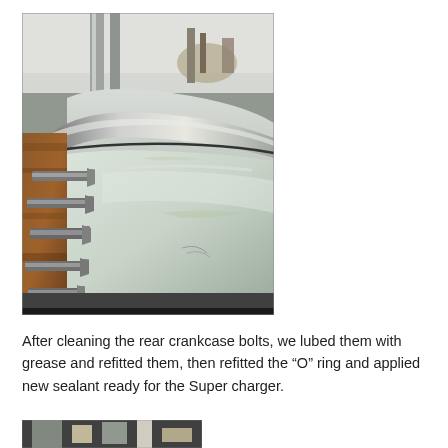[Figure (photo): Close-up photo of rear crankcase area showing metallic curved housing surface with bolts/studs protruding from the left side, with grease/sealant visible on the surfaces. Industrial workshop setting in background.]
After cleaning the rear crankcase bolts, we lubed them with grease and refitted them, then refitted the “O” ring and applied new sealant ready for the Super charger.
[Figure (photo): Partial view of another photo at the bottom of the page, cropped — shows mechanical components in a workshop.]